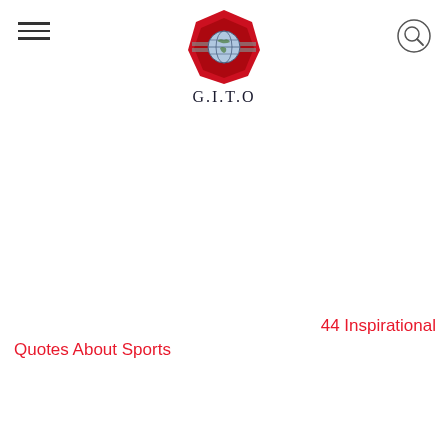G.I.T.O
44 Inspirational Quotes About Sports